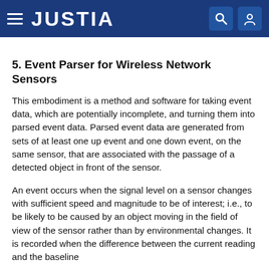JUSTIA
5. Event Parser for Wireless Network Sensors
This embodiment is a method and software for taking event data, which are potentially incomplete, and turning them into parsed event data. Parsed event data are generated from sets of at least one up event and one down event, on the same sensor, that are associated with the passage of a detected object in front of the sensor.
An event occurs when the signal level on a sensor changes with sufficient speed and magnitude to be of interest; i.e., to be likely to be caused by an object moving in the field of view of the sensor rather than by environmental changes. It is recorded when the difference between the current reading and the baseline